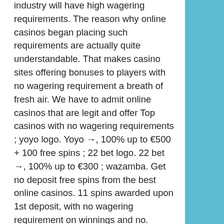industry will have high wagering requirements. The reason why online casinos began placing such requirements are actually quite understandable. That makes casino sites offering bonuses to players with no wagering requirement a breath of fresh air. We have to admit online casinos that are legit and offer Top casinos with no wagering requirements ; yoyo logo. Yoyo →, 100% up to €500 + 100 free spins ; 22 bet logo. 22 bet →, 100% up to €300 ; wazamba. Get no deposit free spins from the best online casinos. 11 spins awarded upon 1st deposit, with no wagering requirement on winnings and no. Check out the below top 7 online casinos that offer bonuses with no wagering requirements as part of their welcome offer. Paddy poweer casino – no deposit. One of the most sought-after benefits an online casino can provide is no wagering requirements. Wagering, also